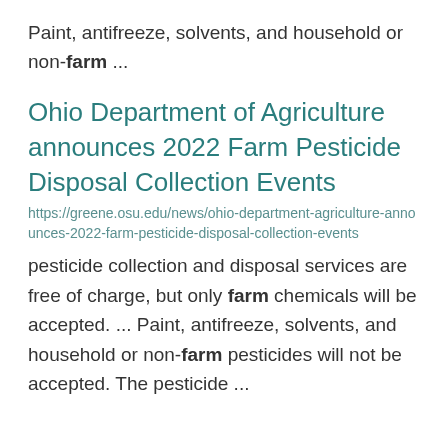Paint, antifreeze, solvents, and household or non-farm ...
Ohio Department of Agriculture announces 2022 Farm Pesticide Disposal Collection Events
https://greene.osu.edu/news/ohio-department-agriculture-announces-2022-farm-pesticide-disposal-collection-events
pesticide collection and disposal services are free of charge, but only farm chemicals will be accepted. ... Paint, antifreeze, solvents, and household or non-farm pesticides will not be accepted. The pesticide ...